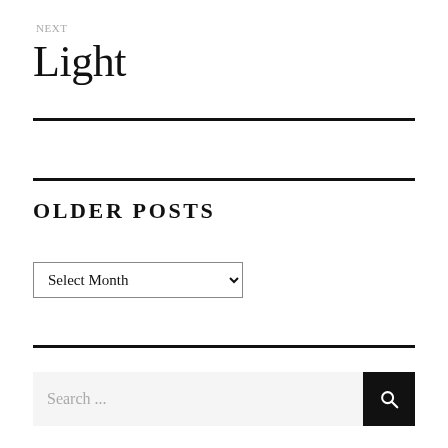NEXT
Light
OLDER POSTS
Select Month
Search ...